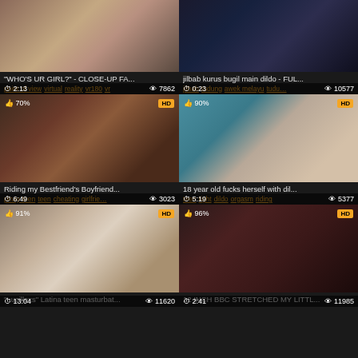[Figure (screenshot): Video thumbnail grid - top left, duration 2:13, views 7862]
"WHO'S UR GIRL?" - CLOSE-UP FA...
point of view virtual reality vr180 vr
[Figure (screenshot): Video thumbnail grid - top right, duration 0:23, views 10577]
jilbab kurus bugil main dildo - FUL...
jilbab tudung awek melayu tudu...
[Figure (screenshot): Video thumbnail grid - middle left, 70% rating, HD, duration 6:49, views 3023]
Riding my Bestfriend's Boyfriend...
pinay teen teen cheating girlfrie...
[Figure (screenshot): Video thumbnail grid - middle right, 90% rating, HD, duration 5:19, views 5377]
18 year old fucks herself with dil...
teen tight dildo orgasm riding
[Figure (screenshot): Video thumbnail grid - bottom left, 91% rating, HD, duration 13:04, views 11620]
"Lucillexs" Latina teen masturbat...
[Figure (screenshot): Video thumbnail grid - bottom right, 96% rating, HD, duration 2:41, views 11985]
12 INCH BBC STRETCHED MY LITTL...